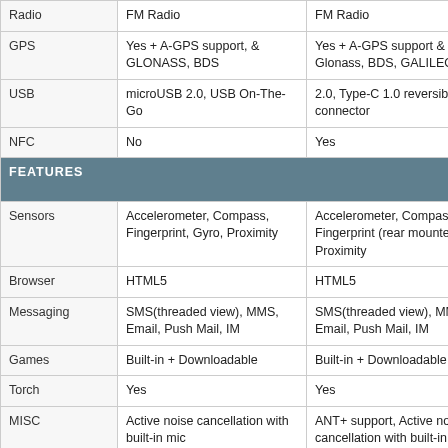| Feature | Device 1 | Device 2 |
| --- | --- | --- |
| Radio | FM Radio | FM Radio |
| GPS | Yes + A-GPS support, & GLONASS, BDS | Yes + A-GPS support & Glonass, BDS, GALILEO |
| USB | microUSB 2.0, USB On-The-Go | 2.0, Type-C 1.0 reversible connector |
| NFC | No | Yes |
| FEATURES |  |  |
| Sensors | Accelerometer, Compass, Fingerprint, Gyro, Proximity | Accelerometer, Compass, Fingerprint (rear mounted), Proximity |
| Browser | HTML5 | HTML5 |
| Messaging | SMS(threaded view), MMS, Email, Push Mail, IM | SMS(threaded view), MMS, Email, Push Mail, IM |
| Games | Built-in + Downloadable | Built-in + Downloadable |
| Torch | Yes | Yes |
| MISC | Active noise cancellation with built-in mic | ANT+ support, Active noise cancellation with built-in mic |